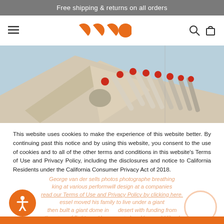Free shipping & returns on all orders
[Figure (logo): GECO brand logo in orange with four pac-man-like shapes]
[Figure (photo): Close-up photograph of white umbrella or canopy structures with red-tipped poles against a blue sky]
This website uses cookies to make the experience of this website better. By continuing past this notice and by using this website, you consent to the use of cookies and to all of the other terms and conditions in this website's Terms of Use and Privacy Policy, including the disclosures and notice to California Residents under the California Consumer Privacy Act of 2018.
read our Terms of Use and Privacy Policy by clicking here.
Ok